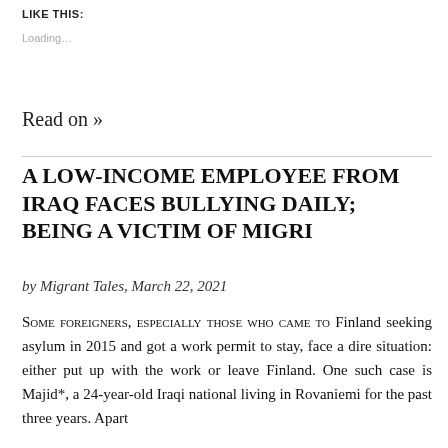LIKE THIS:
Loading...
Read on »
A LOW-INCOME EMPLOYEE FROM IRAQ FACES BULLYING DAILY; BEING A VICTIM OF MIGRI
by Migrant Tales, March 22, 2021
Some foreigners, especially those who came to Finland seeking asylum in 2015 and got a work permit to stay, face a dire situation: either put up with the work or leave Finland. One such case is Majid*, a 24-year-old Iraqi national living in Rovaniemi for the past three years. Apart